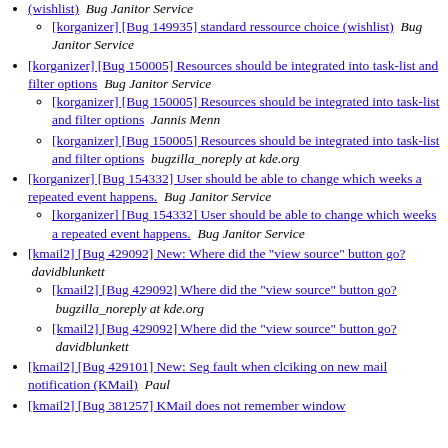(wishlist)  Bug Janitor Service
[korganizer] [Bug 149935] standard ressource choice (wishlist)  Bug Janitor Service
[korganizer] [Bug 150005] Resources should be integrated into task-list and filter options  Bug Janitor Service
[korganizer] [Bug 150005] Resources should be integrated into task-list and filter options  Jannis Menn
[korganizer] [Bug 150005] Resources should be integrated into task-list and filter options  bugzilla_noreply at kde.org
[korganizer] [Bug 154332] User should be able to change which weeks a repeated event happens.  Bug Janitor Service
[korganizer] [Bug 154332] User should be able to change which weeks a repeated event happens.  Bug Janitor Service
[kmail2] [Bug 429092] New: Where did the "view source" button go?  davidblunkett
[kmail2] [Bug 429092] Where did the "view source" button go?  bugzilla_noreply at kde.org
[kmail2] [Bug 429092] Where did the "view source" button go?  davidblunkett
[kmail2] [Bug 429101] New: Seg fault when clciking on new mail notification (KMail)  Paul
[kmail2] [Bug 381257] KMail does not remember window